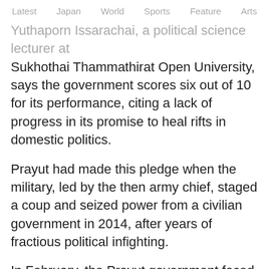Latest   Japan   World   Sports   Feature   Arts
Yuthaporn Issarachai, a political science lecturer at Sukhothai Thammathirat Open University, says the government scores six out of 10 for its performance, citing a lack of progress in its promise to heal rifts in domestic politics.
Prayut had made this pledge when the military, led by the then army chief, staged a coup and seized power from a civilian government in 2014, after years of fractious political infighting.
In February, the Prayut government faced a near crisis after the Constitutional Court dissolved the country's second-largest opposition party and banned its 16 executives from participating in politics for 10 years.
Groups of students held rallies criticizing the Future Forward Party's dissolution as politically motivated,